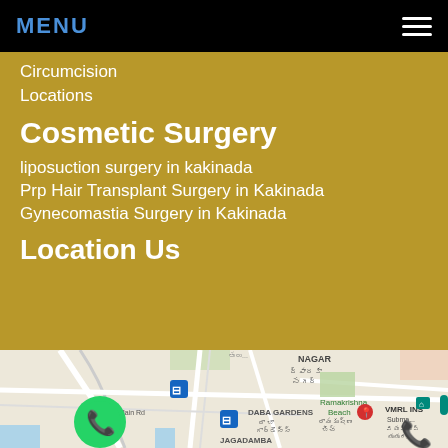MENU
Circumcision
Locations
Cosmetic Surgery
liposuction surgery in kakinada
Prp Hair Transplant Surgery in Kakinada
Gynecomastia Surgery in Kakinada
Location Us
[Figure (map): Google Maps showing Kakinada area with NAGAR, Dwaraka Nagar, DABA GARDENS, Ramakrishna Beach, JAGADAMBA, VMRL INS labels and road network]